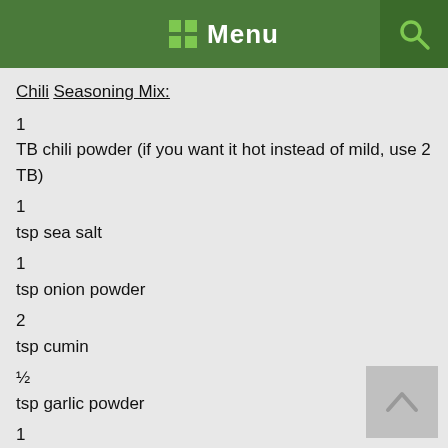Menu
Chili
Seasoning Mix:
1
TB chili powder (if you want it hot instead of mild, use 2 TB)
1
tsp sea salt
1
tsp onion powder
2
tsp cumin
½
tsp garlic powder
1
tsp oregano